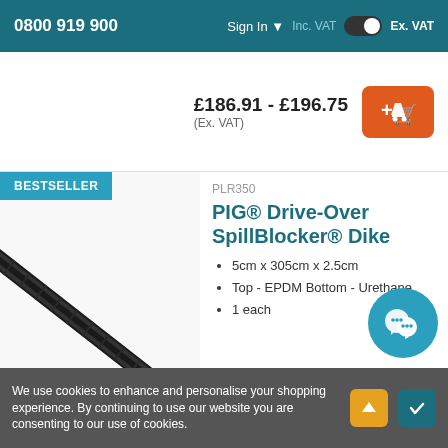0800 919 900  Sign In  Inc. VAT  Ex. VAT
£186.91 - £196.75 (Ex. VAT)
[Figure (screenshot): Add to cart orange button with plus and cart icon]
[Figure (illustration): Black rubber spill blocker dike product image, elongated strip at an angle, with BESTSELLER badge in teal]
PLR350
PIG® Drive-Over SpillBlocker® Dike
5cm x 305cm x 2.5cm
Top - EPDM Bottom - Urethane
1 each
£297.11 - £312.75 (Ex. VAT)
We use cookies to enhance and personalise your shopping experience. By continuing to use our website you are consenting to our use of cookies.